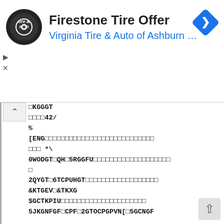[Figure (screenshot): Ad banner for Firestone Tire Offer from Virginia Tire & Auto of Ashburn with logo and navigation icon]
Firestone Tire Offer
Virginia Tire & Auto of Ashburn ...
ÌKGGT□□□□□□□□□□□□□□□□□□□□□□□□□□□□□□□□□□□□□□□□□□□□
□□□□42/
%
[ENG□□□□□□□□□□□□□□□□□□□□□□□□□□□□□□□□□□□□□□□□□□□□
□□□ *\
0WODGT□QH□5RGGFU□□□□□□□□□□□□□□□□□□□□□□□□□□□□□□□□
□
2QYGT□6TCPUHGT□□□□□□□□□□□□□□□□□□□□□□□□□□□□□□□□□
&KTGEV□&TKXG
$GCTKPIU□□□□□□□□□□□□□□□□□□□□□□□□□□□□□□□□□□□□□□□
5JKGNFGF□CPF□2GTOCPGPVN[□5GCNGF

/CKP□5RGEKHKECVKQPU
1RGTCVKQP□+PHQ
5YKPI□1XGT□$GF□□□□□□□□□□□□□□□□□□□□□□□□□□□□□□□□
□□□□□□KP□
&KUVCPEG□$GVYGGP□%GPVGTU□□□□□□□□□□□□□□□□□□□□□□
□□□KP□